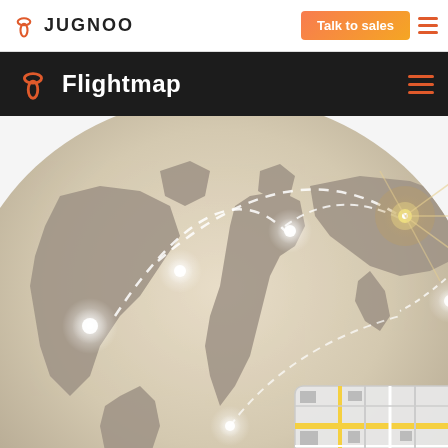JUGNOO | Talk to sales
Flightmap
[Figure (illustration): World map illustration with flight route connections shown as dashed arcs between glowing circular nodes on a beige/tan colored globe. Bottom right corner shows a street map inset with yellow roads.]